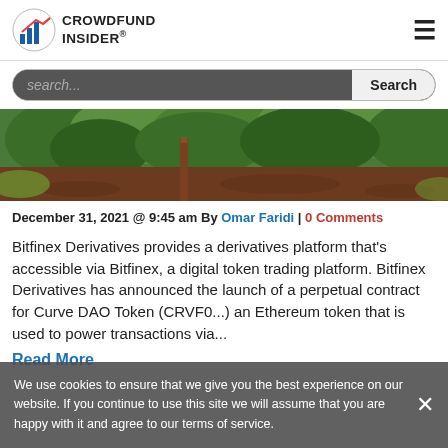CROWDFUND INSIDER
[Figure (photo): Outdoor photo showing green foliage and dark reddish-brown mulch/soil]
December 31, 2021 @ 9:45 am By Omar Faridi | 0 Comments
Bitfinex Derivatives provides a derivatives platform that's accessible via Bitfinex, a digital token trading platform. Bitfinex Derivatives has announced the launch of a perpetual contract for Curve DAO Token (CRVF0...) an Ethereum token that is used to power transactions via...
Read More
We use cookies to ensure that we give you the best experience on our website. If you continue to use this site we will assume that you are happy with it and agree to our terms of service.